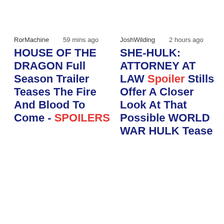RorMachine    59 mins ago
HOUSE OF THE DRAGON Full Season Trailer Teases The Fire And Blood To Come - SPOILERS
JoshWilding    2 hours ago
SHE-HULK: ATTORNEY AT LAW Spoiler Stills Offer A Closer Look At That Possible WORLD WAR HULK Tease